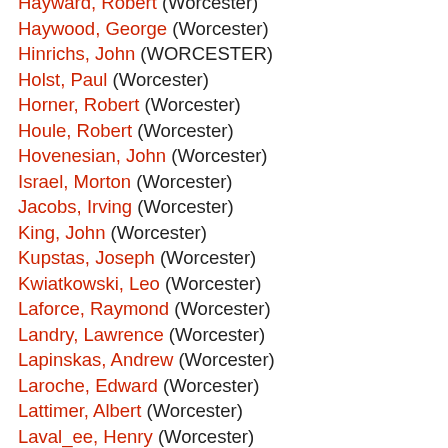Hayward, Robert (Worcester)
Haywood, George (Worcester)
Hinrichs, John (WORCESTER)
Holst, Paul (Worcester)
Horner, Robert (Worcester)
Houle, Robert (Worcester)
Hovenesian, John (Worcester)
Israel, Morton (Worcester)
Jacobs, Irving (Worcester)
King, John (Worcester)
Kupstas, Joseph (Worcester)
Kwiatkowski, Leo (Worcester)
Laforce, Raymond (Worcester)
Landry, Lawrence (Worcester)
Lapinskas, Andrew (Worcester)
Laroche, Edward (Worcester)
Lattimer, Albert (Worcester)
Laval_ee, Henry (Worcester)